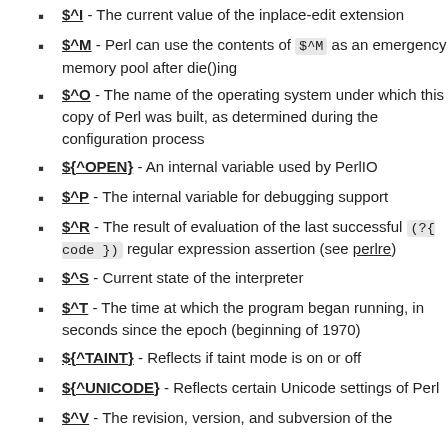$^I - The current value of the inplace-edit extension
$^M - Perl can use the contents of $^M as an emergency memory pool after die()ing
$^O - The name of the operating system under which this copy of Perl was built, as determined during the configuration process
${^OPEN} - An internal variable used by PerlIO
$^P - The internal variable for debugging support
$^R - The result of evaluation of the last successful (?{ code }) regular expression assertion (see perlre)
$^S - Current state of the interpreter
$^T - The time at which the program began running, in seconds since the epoch (beginning of 1970)
${^TAINT} - Reflects if taint mode is on or off
${^UNICODE} - Reflects certain Unicode settings of Perl
$^V - The revision, version, and subversion of the